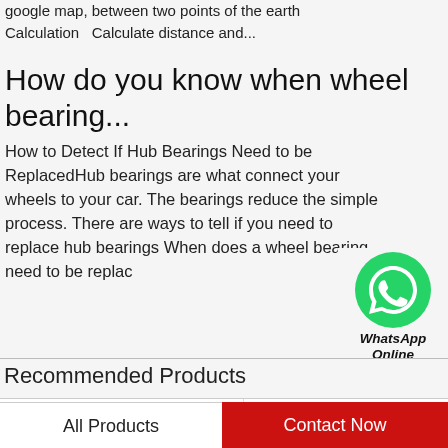google map, between two points of the earth Calculation  Calculate distance and...
How do you know when wheel bearing...
How to Detect If Hub Bearings Need to be ReplacedHub bearings are what connect your wheels to your car. The bearings reduce the simple process. There are ways to tell if you need to replace hub bearings When does a wheel bearing need to be replac
[Figure (logo): WhatsApp green circle icon with phone handset, labeled 'WhatsApp Online']
Recommended Products
[Figure (photo): NTN bearing product boxes and bearing ring on white background, left product]
[Figure (photo): NTN bearing product boxes on white background, right product]
All Products
Contact Now